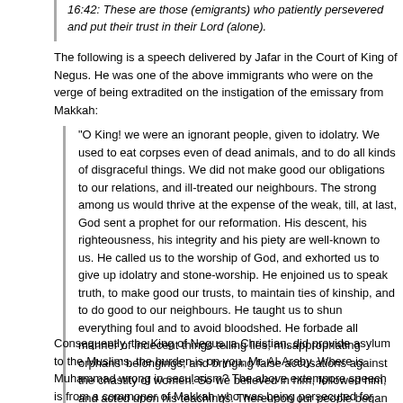16:42: These are those (emigrants) who patiently persevered and put their trust in their Lord (alone).
The following is a speech delivered by Jafar in the Court of King of Negus. He was one of the above immigrants who were on the verge of being extradited on the instigation of the emissary from Makkah:
“O King! we were an ignorant people, given to idolatry. We used to eat corpses even of dead animals, and to do all kinds of disgraceful things. We did not make good our obligations to our relations, and ill-treated our neighbours. The strong among us would thrive at the expense of the weak, till, at last, God sent a prophet for our reformation. His descent, his righteousness, his integrity and his piety are well-known to us. He called us to the worship of God, and exhorted us to give up idolatry and stone-worship. He enjoined us to speak truth, to make good our trusts, to maintain ties of kinship, and to do good to our neighbours. He taught us to shun everything foul and to avoid bloodshed. He forbade all manner of indecent things telling lies, misappropriating orphans’ belongings, and bringing false accusations against the chastity of women. So we believed in him, followed him, and acted upon his teachings. Thereupon our people began to persecute us, to subject us to tortures, thinking that we might thus abjure our faith and revert to idolatry. When, however, their cruelties exceeded all bounds, we came out to seek an asylum in your country, where we hope we shall be put to no harm.” [Muhammad the Prophet – p. 53]
Consequently, the King of Negus, a Christian, did provide asylum to the Muslims, the burden is on you, Mr. Al-Araby. Where is Muhammad wrong in secularism? The above extempore speech is from a commoner of Makkah who was being persecuted for issues that might make you migrate yourself. If what was happening in Makkah then was happening now, will not Humans Right Watch take up their case? Will not ICC at Hague take up their case? Interestingly, Jafar is not even